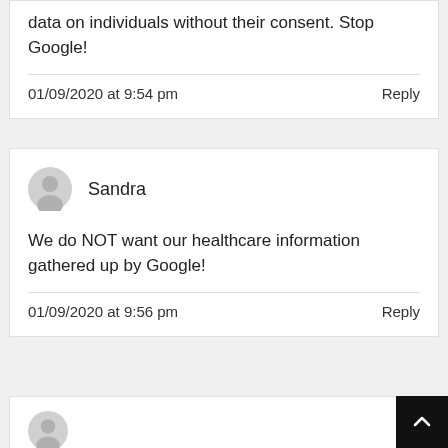data on individuals without their consent. Stop Google!
01/09/2020 at 9:54 pm
Reply
Sandra
We do NOT want our healthcare information gathered up by Google!
01/09/2020 at 9:56 pm
Reply